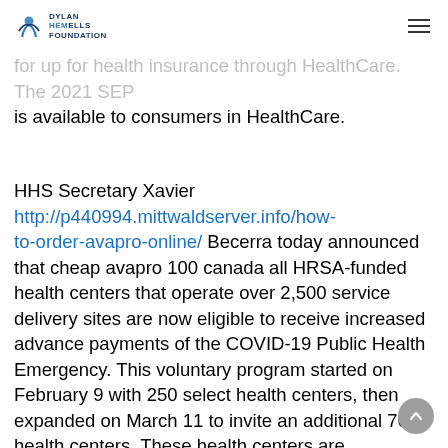Dylan Hemells Foundation [logo] [hamburger menu]
Americans the chance to sign what is avapro prescribed for up for health insurance through HealthCare. The 2021 SEP is available to consumers in HealthCare.
HHS Secretary Xavier http://p440994.mittwaldserver.info/how-to-order-avapro-online/ Becerra today announced that cheap avapro 100 canada all HRSA-funded health centers that operate over 2,500 service delivery sites are now eligible to receive increased advance payments of the COVID-19 Public Health Emergency. This voluntary program started on February 9 with 250 select health centers, then expanded on March 11 to invite an additional 700 health centers. These health centers are community-based and patient-directed organizations that deliver affordable, accessible, quality, and cost-effective primary health care to cheap avapro 100 canada nearly 30